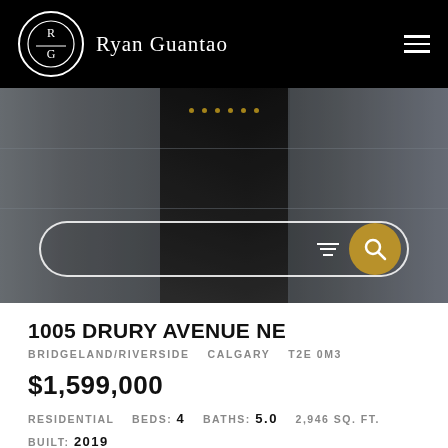Ryan Guantao
[Figure (photo): Interior photo of a modern luxury living room with dark marble fireplace, pendant lights, and contemporary furniture, shown in dark/moody tones. Overlaid with a pill-shaped search bar with filter icon and gold search button.]
1005 DRURY AVENUE NE
BRIDGELAND/RIVERSIDE   CALGARY   T2E 0M3
$1,599,000
RESIDENTIAL   BEDS: 4   BATHS: 5.0   2,946 SQ. FT.   BUILT: 2019